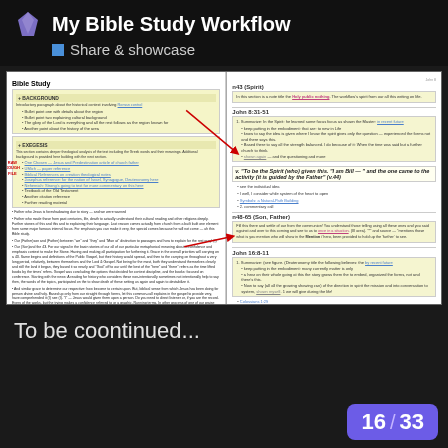My Bible Study Workflow
Share & showcase
[Figure (screenshot): Screenshot of a two-page Bible Study document layout with annotations and red arrows pointing to sections. Left page shows 'Bible Study' title with highlighted sections including Background and quotes. Right page shows sections n43 Spirit, John 8:31-51, n48-65 Son Father, John 16:8-11 with colored text boxes and bullet points. Red arrows connect left and right pages. A sidebar label reads 'RAW ROUGH FILE'.]
To be coontinued...
16 / 33